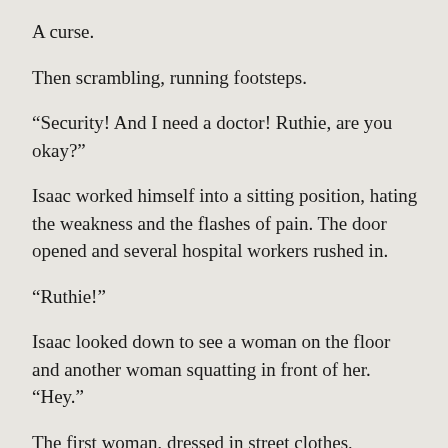A curse.
Then scrambling, running footsteps.
“Security! And I need a doctor! Ruthie, are you okay?”
Isaac worked himself into a sitting position, hating the weakness and the flashes of pain. The door opened and several hospital workers rushed in.
“Ruthie!”
Isaac looked down to see a woman on the floor and another woman squatting in front of her. “Hey.”
The first woman, dressed in street clothes,